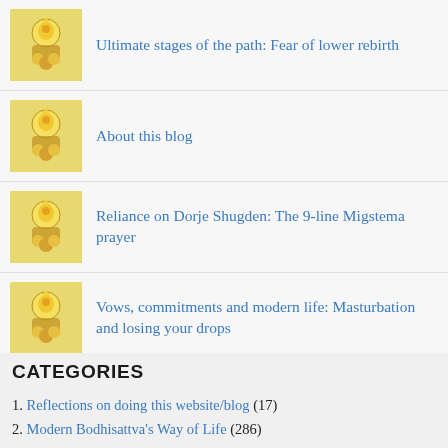Ultimate stages of the path: Fear of lower rebirth
About this blog
Reliance on Dorje Shugden: The 9-line Migstema prayer
Vows, commitments and modern life: Masturbation and losing your drops
Vows, commitments and modern life: Living the dream
CATEGORIES
1. Reflections on doing this website/blog (17)
2. Modern Bodhisattva's Way of Life (286)